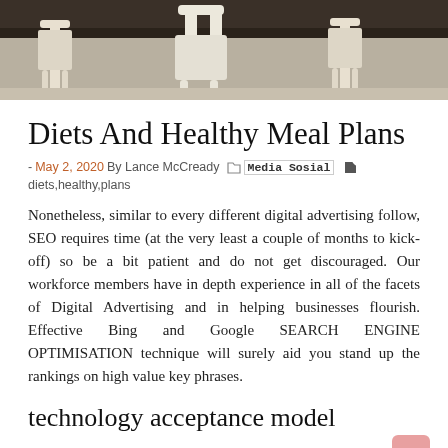[Figure (photo): Photo banner showing white chairs and dark background, likely a dining or restaurant setting]
Diets And Healthy Meal Plans
- May 2, 2020  By Lance McCready  📁 Media Sosial  🏷 diets,healthy,plans
Nonetheless, similar to every different digital advertising follow, SEO requires time (at the very least a couple of months to kick-off) so be a bit patient and do not get discouraged. Our workforce members have in depth experience in all of the facets of Digital Advertising and in helping businesses flourish. Effective Bing and Google SEARCH ENGINE OPTIMISATION technique will surely aid you stand up the rankings on high value key phrases.
technology acceptance model
Cerner Company® (NASDAQ: CERN) has announced